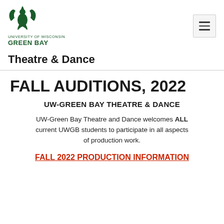[Figure (logo): University of Wisconsin-Green Bay logo with green phoenix/eagle emblem and text]
Theatre & Dance
FALL AUDITIONS, 2022
UW-GREEN BAY THEATRE & DANCE
UW-Green Bay Theatre and Dance welcomes ALL current UWGB students to participate in all aspects of production work.
FALL 2022 PRODUCTION INFORMATION